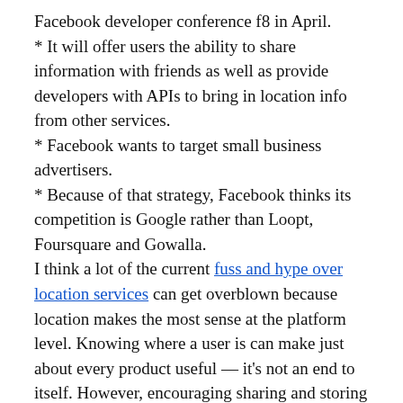Facebook developer conference f8 in April.
* It will offer users the ability to share information with friends as well as provide developers with APIs to bring in location info from other services.
* Facebook wants to target small business advertisers.
* Because of that strategy, Facebook thinks its competition is Google rather than Loopt, Foursquare and Gowalla.
I think a lot of the current fuss and hype over location services can get overblown because location makes the most sense at the platform level. Knowing where a user is can make just about every product useful — it's not an end to itself. However, encouraging sharing and storing of location information is touchy, especially with Facebook's history around privacy issues. Ultimately, Facebook — with its 100 million-plus mobile users — won't be able to avoid competing with location-based startups, but it may be able to help them in the meantime